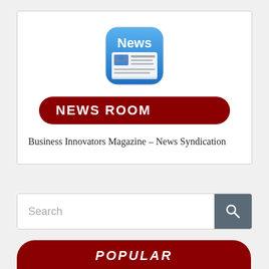[Figure (logo): News app icon — blue rounded square with 'News' text in white and newspaper graphic below]
NEWS ROOM
Business Innovators Magazine – News Syndication
[Figure (other): Search bar with magnifying glass button]
POPULAR